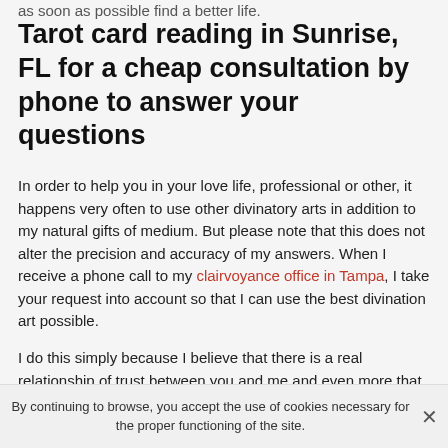as soon as possible find a better life.
Tarot card reading in Sunrise, FL for a cheap consultation by phone to answer your questions
In order to help you in your love life, professional or other, it happens very often to use other divinatory arts in addition to my natural gifts of medium. But please note that this does not alter the precision and accuracy of my answers. When I receive a phone call to my clairvoyance office in Tampa, I take your request into account so that I can use the best divination art possible.
I do this simply because I believe that there is a real relationship of trust between you and me and even more that must be created. Indeed, to help you, it is important that you feel good with me and to achieve this, I have to
By continuing to browse, you accept the use of cookies necessary for the proper functioning of the site.